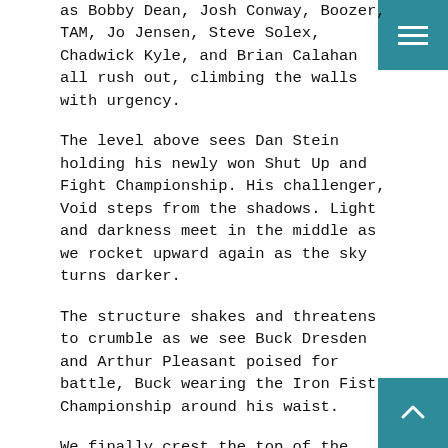as Bobby Dean, Josh Conway, Boozer, TAM, Jo Jensen, Steve Solex, Chadwick Kyle, and Brian Calahan all rush out, climbing the walls with urgency.
The level above sees Dan Stein holding his newly won Shut Up and Fight Championship. His challenger, Void steps from the shadows. Light and darkness meet in the middle as we rocket upward again as the sky turns darker.
The structure shakes and threatens to crumble as we see Buck Dresden and Arthur Pleasant poised for battle, Buck wearing the Iron Fist Championship around his waist.
We finally crest the top of the pyramid where NEMESIS stands, raising the World Heavyweight Championship high. Behind her, Joshua Breedlove reaches the top.
Moonlight shines down on the pyramid and all of the